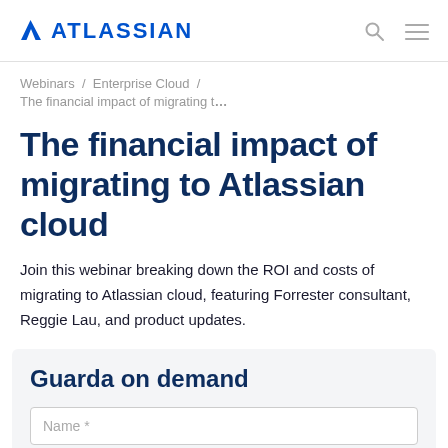ATLASSIAN
Webinars / Enterprise Cloud / The financial impact of migrating t…
The financial impact of migrating to Atlassian cloud
Join this webinar breaking down the ROI and costs of migrating to Atlassian cloud, featuring Forrester consultant, Reggie Lau, and product updates.
Guarda on demand
Name *